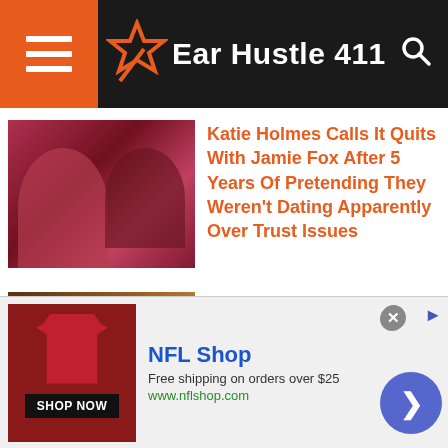Ear Hustle 411
Katie Holmes Calls It Quits With Jamie Fox After 5 Years Of Pretending They Weren't Dating Apparently Over Trust Issues
Congresswoman Maxine Waters Cancels Events Due To Multiple Death Threats
[Video] White Woman Calls The Cops On Black Real Estate Investor, Cops Threaten To Arrest Her For Harassing
NFL Shop
Free shipping on orders over $25
www.nflshop.com
SHOP NOW